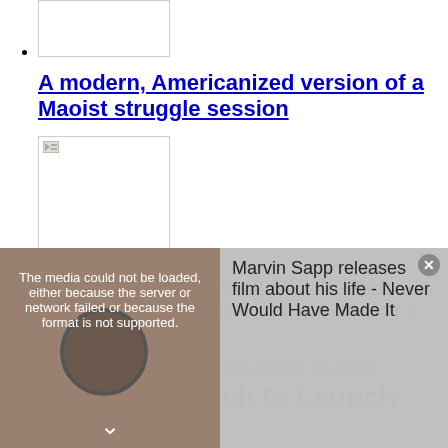[image placeholder]
A modern, Americanized version of a Maoist struggle session
[image with icon]
Biblical conservatism and women pastors: A Southern Baptist pastor's understanding
CP Church & Ministries | Friday, March 15, 2013
Lakewood Church to Launch New
[Figure (screenshot): Video player overlay showing a media error message 'The media could not be loaded, either because the server or network failed or because the format is not supported.' on the left, and on the right a sidebar showing 'Marvin Sapp releases film about his life - Never Would Have Made It' with a close button and down arrow.]